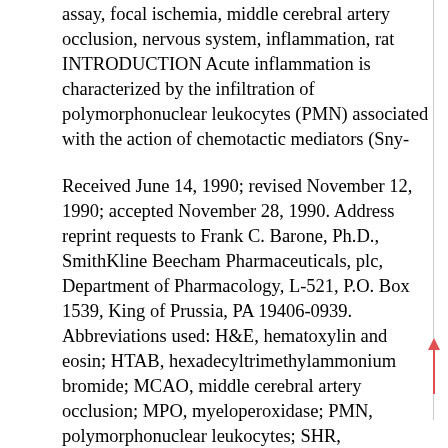assay, focal ischemia, middle cerebral artery occlusion, nervous system, inflammation, rat INTRODUCTION Acute inflammation is characterized by the infiltration of polymorphonuclear leukocytes (PMN) associated with the action of chemotactic mediators (Sny-
Received June 14, 1990; revised November 12, 1990; accepted November 28, 1990. Address reprint requests to Frank C. Barone, Ph.D., SmithKline Beecham Pharmaceuticals, plc, Department of Pharmacology, L-521, P.O. Box 1539, King of Prussia, PA 19406-0939. Abbreviations used: H&E, hematoxylin and eosin; HTAB, hexadecyltrimethylammonium bromide; MCAO, middle cerebral artery occlusion; MPO, myeloperoxidase; PMN, polymorphonuclear leukocytes; SHR, spontaneously hypertensive rats; TTC, triphenyltetrazolium chloride.
PMN and MPO in Focal Ischemia
derman and Uhing, 1988). Generally neutrophils will accumulate in tissues in response to chemotactic factors associated with inflammatory processes (O'Flaherty and Ward, 1979) and products of hemostatic activity (Stecker